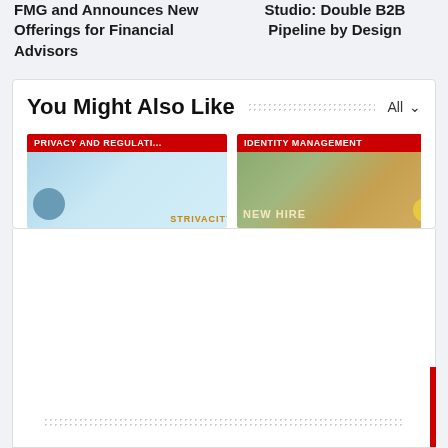FMG and Announces New Offerings for Financial Advisors
Studio: Double B2B Pipeline by Design
You Might Also Like
[Figure (screenshot): Two article cards: 'PRIVACY AND REGULATI...' with Strivacity branding on blue background, and 'IDENTITY MANAGEMENT' with 'NEW HIRE' text on a green/gold background image]
[Figure (screenshot): White content area below article cards with dotted pattern bar near bottom and red scrollbar on right edge]